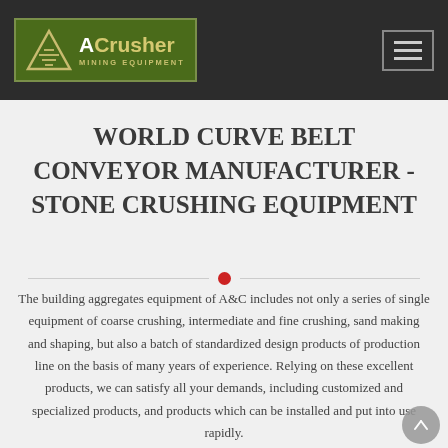[Figure (logo): ACrusher Mining Equipment logo with olive green background, white triangle with horizontal lines, brand name in white and gold, on dark navigation bar with hamburger menu button on the right]
[Figure (other): Live chat bubble in teal color with 'LIVE CHAT' text and speech bubble icon in purple]
WORLD CURVE BELT CONVEYOR MANUFACTURER - STONE CRUSHING EQUIPMENT
The building aggregates equipment of A&C includes not only a series of single equipment of coarse crushing, intermediate and fine crushing, sand making and shaping, but also a batch of standardized design products of production line on the basis of many years of experience. Relying on these excellent products, we can satisfy all your demands, including customized and specialized products, and products which can be installed and put into use rapidly.